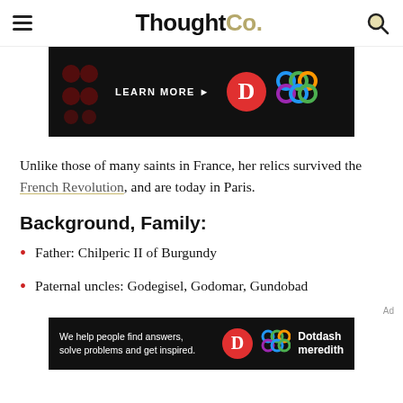ThoughtCo.
[Figure (screenshot): Advertisement banner with dark background showing 'LEARN MORE' text with arrow, a red circle with white D logo, and a colorful interlocking circles logo]
Unlike those of many saints in France, her relics survived the French Revolution, and are today in Paris.
Background, Family:
Father: Chilperic II of Burgundy
Paternal uncles: Godegisel, Godomar, Gundobad
[Figure (screenshot): Dotdash Meredith advertisement banner with dark background: 'We help people find answers, solve problems and get inspired.' with D logo and Dotdash meredith branding]